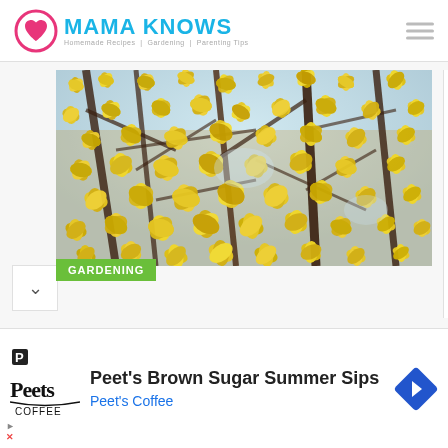MAMA KNOWS — Homemade Recipes | Gardening | Parenting Tips
[Figure (photo): Close-up photo of bright yellow forsythia blossoms on dark branches against a light sky background]
GARDENING
[Figure (other): Advertisement: Peet's Brown Sugar Summer Sips — Peet's Coffee, with Peet's Coffee logo and navigation arrow icon]